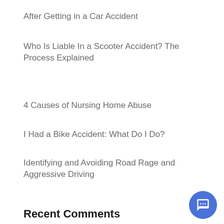After Getting in a Car Accident
Who Is Liable In a Scooter Accident? The Process Explained
4 Causes of Nursing Home Abuse
I Had a Bike Accident: What Do I Do?
Identifying and Avoiding Road Rage and Aggressive Driving
Recent Comments
Archives
August 2022
July 2022